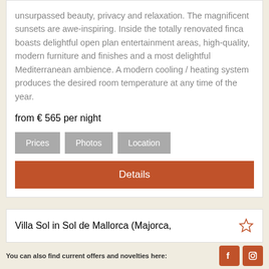unsurpassed beauty, privacy and relaxation. The magnificent sunsets are awe-inspiring. Inside the totally renovated finca boasts delightful open plan entertainment areas, high-quality, modern furniture and finishes and a most delightful Mediterranean ambience. A modern cooling / heating system produces the desired room temperature at any time of the year.
from € 565 per night
Prices   Photos   Location
Details
Villa Sol in Sol de Mallorca (Majorca,
You can also find current offers and novelties here: